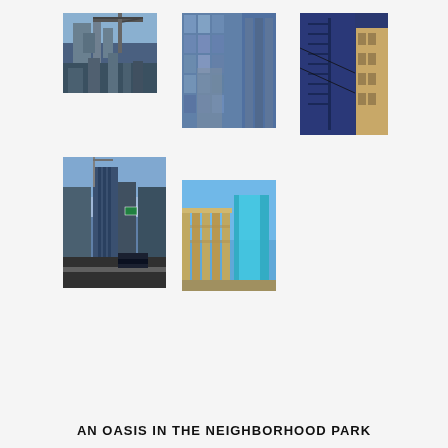[Figure (photo): Urban construction photo: tall building under construction with crane and blue sky, viewed from below]
[Figure (photo): Urban photo: glass skyscraper reflecting another building, blue tones]
[Figure (photo): Urban photo: blue industrial building facade with fire escapes and older brick buildings beside it]
[Figure (photo): Urban street photo: tall building under construction viewed from street level with bus/vehicles, blue tones]
[Figure (photo): Urban photo: ornate stone building columns with modern glass skyscraper behind it against blue sky]
AN OASIS IN THE NEIGHBORHOOD PARK